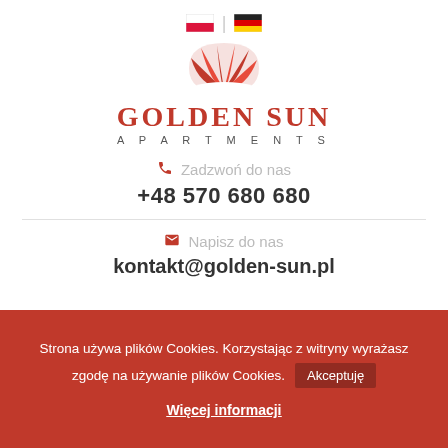[Figure (logo): Polish and German flag icons side by side with separator]
[Figure (logo): Golden Sun Apartments logo: red stylized sun/fan shape above text GOLDEN SUN APARTMENTS]
Zadzwoń do nas
+48 570 680 680
Napisz do nas
kontakt@golden-sun.pl
Strona używa plików Cookies. Korzystając z witryny wyrażasz zgodę na używanie plików Cookies.
Akceptuję
Więcej informacji